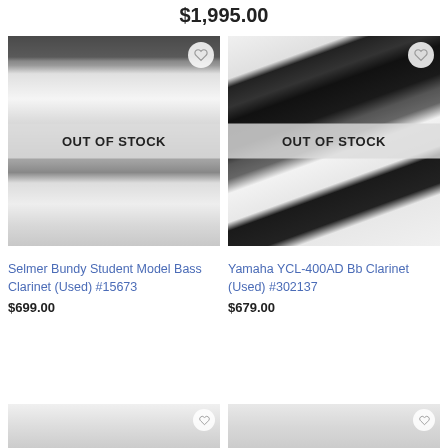$1,995.00
[Figure (photo): Photo of Selmer Bundy Student Model Bass Clarinet with black case, showing silver keys, with OUT OF STOCK overlay]
[Figure (photo): Photo of Yamaha YCL-400AD Bb Clarinet with black case on white background, with OUT OF STOCK overlay]
Selmer Bundy Student Model Bass Clarinet (Used) #15673
$699.00
Yamaha YCL-400AD Bb Clarinet (Used) #302137
$679.00
[Figure (photo): Partial view of another instrument listing at bottom left]
[Figure (photo): Partial view of another instrument listing at bottom right]